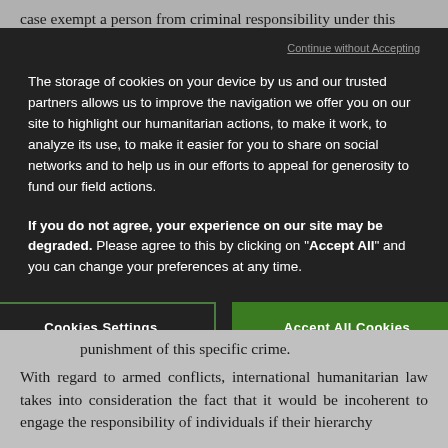case exempt a person from criminal responsibility under this
[Figure (screenshot): Cookie consent modal overlay on a dark background. Contains a 'Continue without Accepting' link, a body text about cookie storage, a bold warning about degraded experience if not agreed, and two buttons: 'Cookies Settings' (outlined) and 'Accept All Cookies' (filled green).]
punishment of this specific crime.
With regard to armed conflicts, international humanitarian law takes into consideration the fact that it would be incoherent to engage the responsibility of individuals if their hierarchy...